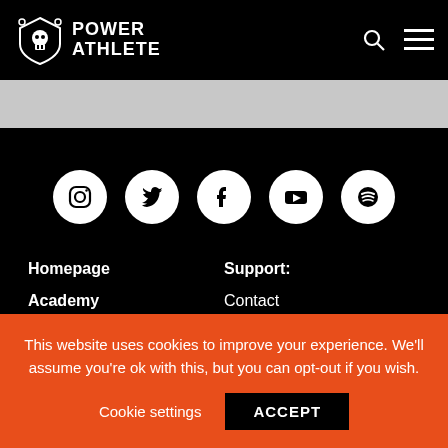Power Athlete
[Figure (other): Social media icons row: Instagram, Twitter, Facebook, YouTube, Spotify — white circles on black background]
Homepage
Academy
Training Programs
About Us
Nutrition
Support: Contact Careers
Legal Stuff:
This website uses cookies to improve your experience. We'll assume you're ok with this, but you can opt-out if you wish.
Cookie settings  ACCEPT